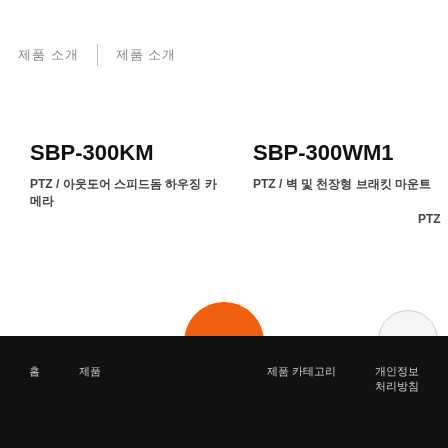제품 소개 | 제품 소개
SBP-300KM
PTZ / 아웃도어 스피드돔 하우징 카메라
SBP-300WM1
PTZ / 벽 및 천장형 브래킷 마운트
PTZ
[Figure (other): Orange circular button overlaying black bottom navigation bar]
홈 | 제품 | 제품 카테고리 | 개인정보
처리방침